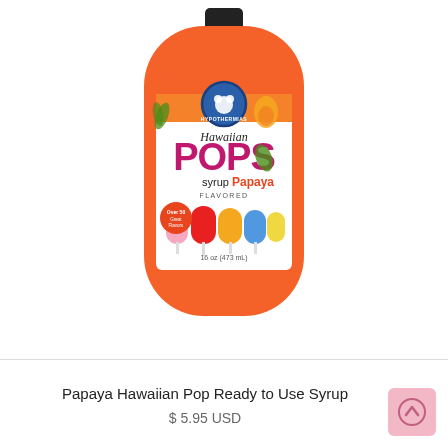[Figure (photo): An orange bottle of Hawaiian Pops Papaya Flavored Syrup, 16 oz (473 mL), with a white label showing the brand logo, popsicle illustrations in pink, red, orange, blue, and yellow, and a black cap on top.]
Papaya Hawaiian Pop Ready to Use Syrup
$ 5.95 USD